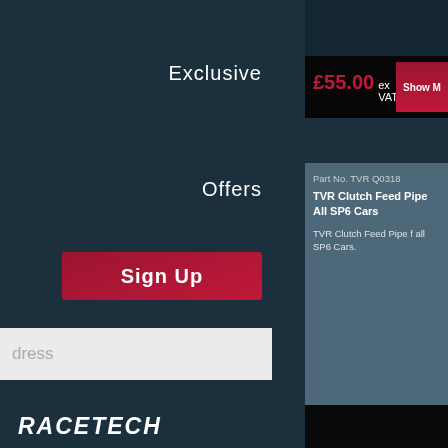Exclusive
Offers
Sign Up
dress
£55.00 ex VAT £69.99
Show M
Part No. TVR Q0318
TVR Clutch Feed Pipe All SP6 Cars
TVR Clutch Feed Pipe f all SP6 Cars.
£46.95 ex VAT
Show M
Clutch Master & Slave Cylind
RACETECH